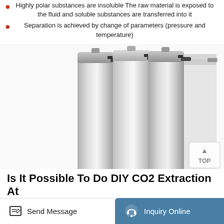Highly polar substances are insoluble The raw material is exposed to the fluid and soluble substances are transferred into it
Separation is achieved by change of parameters (pressure and temperature)
[Figure (photo): Several large stainless steel cylindrical extraction vessels arranged in a row, used for CO2 supercritical fluid extraction. A 'TOP' badge is visible in the bottom right corner of the image.]
Is It Possible To Do DIY CO2 Extraction At
Send Message  |  Inquiry Online